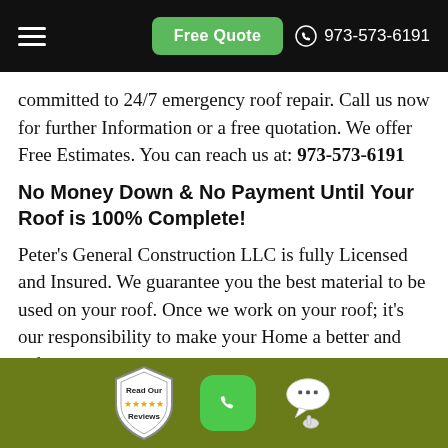Free Quote  973-573-6191
committed to 24/7 emergency roof repair. Call us now for further Information or a free quotation. We offer Free Estimates. You can reach us at: 973-573-6191
No Money Down & No Payment Until Your Roof is 100% Complete!
Peter's General Construction LLC is fully Licensed and Insured. We guarantee you the best material to be used on your roof. Once we work on your roof; it's our responsibility to make your Home a better and safe place to live. Peter's General Construction LLC has have
[Figure (infographic): Green footer bar with review badge (Read Our Reviews with 5 stars), green phone button, and chat/message button with hand icon]